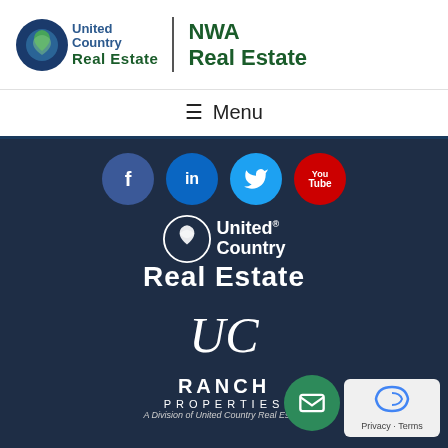[Figure (logo): United Country Real Estate logo with blue circle icon and green text]
[Figure (logo): NWA Real Estate logo in dark green bold text]
≡ Menu
[Figure (infographic): Dark navy background section with social media icons (Facebook, LinkedIn, Twitter, YouTube), United Country Real Estate white logo, UC Ranch Properties logo, email FAB button, and reCAPTCHA privacy widget]